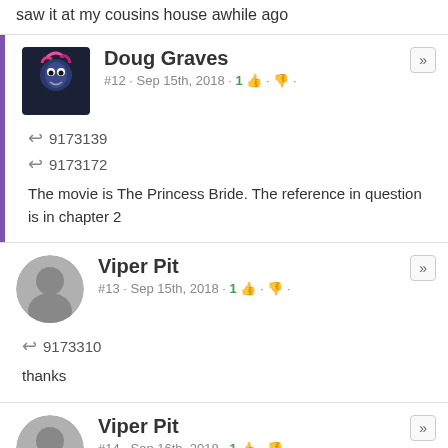saw it at my cousins house awhile ago
Doug Graves
#12 · Sep 15th, 2018 · 1 👍 · 👎
↩ 9173139
↩ 9173172
The movie is The Princess Bride. The reference in question is in chapter 2
Viper Pit
#13 · Sep 15th, 2018 · 1 👍 · 👎
↩ 9173310
thanks
Viper Pit
#14 · Sep 16th, 2018 · 1 👍 · 👎
well we can safly say that ponies don't care for jerky made